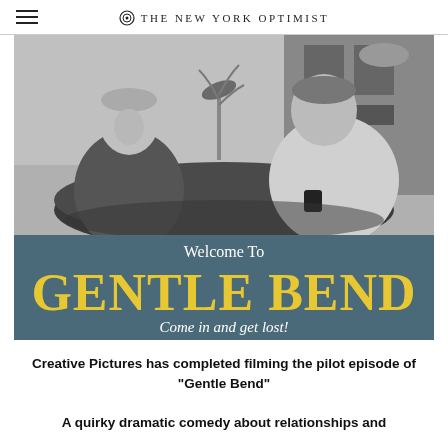THE NEW YORK OPTIMIST
[Figure (photo): Black and white still from the TV pilot 'Gentle Bend' showing two men seated across a table in what appears to be an office or meeting room setting. Below the still image is a dark teal banner reading 'Welcome To GENTLE BEND Come in and get lost!']
Creative Pictures has completed filming the pilot episode of "Gentle Bend"
A quirky dramatic comedy about relationships and